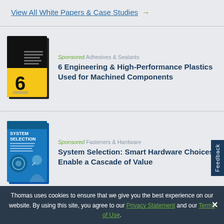View All White Papers & Case Studies →
[Figure (illustration): Book cover: '6 Engineering and High-Performance Plastics Used for Machined Components' with yellow and black design showing the number 6]
Sponsored Adhesives & Sealants
6 Engineering & High-Performance Plastics Used for Machined Components
[Figure (illustration): Book cover: 'System Selection: Smart Hardware Choices Enable a Cascade of Value' with blue cover showing a man thinking]
Sponsored Fasteners & Hardware
System Selection: Smart Hardware Choices Enable a Cascade of Value
View All Resources →
Thomas uses cookies to ensure that we give you the best experience on our website. By using this site, you agree to our Privacy Statement and our Terms of Use.